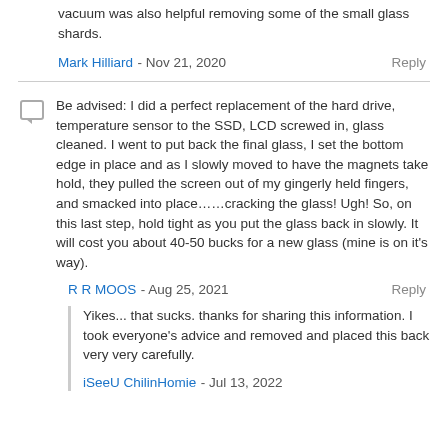vacuum was also helpful removing some of the small glass shards.
Mark Hilliard - Nov 21, 2020   Reply
Be advised: I did a perfect replacement of the hard drive, temperature sensor to the SSD, LCD screwed in, glass cleaned. I went to put back the final glass, I set the bottom edge in place and as I slowly moved to have the magnets take hold, they pulled the screen out of my gingerly held fingers, and smacked into place……cracking the glass! Ugh! So, on this last step, hold tight as you put the glass back in slowly. It will cost you about 40-50 bucks for a new glass (mine is on it's way).
R R MOOS - Aug 25, 2021   Reply
Yikes... that sucks. thanks for sharing this information. I took everyone's advice and removed and placed this back very very carefully.
iSeeU ChilinHomie - Jul 13, 2022